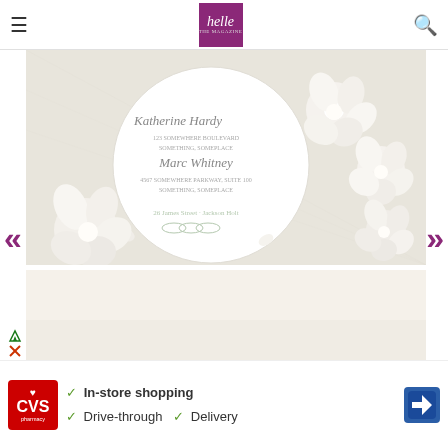helle THE MAGAZINE
[Figure (photo): Overhead view of a circular wedding invitation card surrounded by white flowers on a linen background]
[Figure (photo): Close-up of back of person's head with brown hair against a cream/beige background, with a purple 'pin it!' button overlay]
[Figure (other): CVS Pharmacy advertisement showing services: In-store shopping, Drive-through, and Delivery]